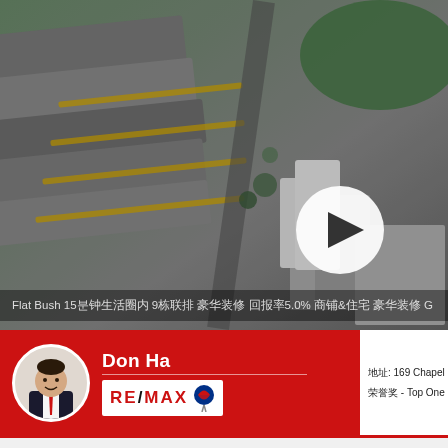[Figure (photo): Aerial drone photograph of a suburban development area (Flat Bush) showing buildings, roads, green spaces, and a video play button overlay]
Flat Bush 15分钟生活圈内 9栋联排 豪华装修 回报率5.0% 商铺&住宅 豪华装修 G
[Figure (photo): Agent profile card with photo of Don Ha, RE/MAX logo on red background, and contact info]
地址: 169 Chapel
荣誉奖 - Top One R